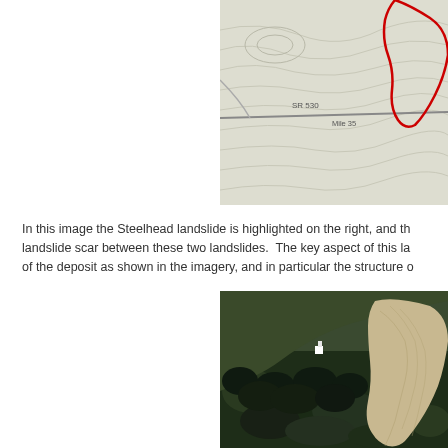[Figure (map): Topographic map showing SR 530 road, Mile 35 marker, and Steelhead landslide area highlighted with a red outline on the right side of the map.]
In this image the Steelhead landslide is highlighted on the right, and th... landslide scar between these two landslides.  The key aspect of this la... of the deposit as shown in the imagery, and in particular the structure o...
[Figure (photo): Aerial photograph showing forested hillside with a large pale landslide deposit visible on the right side, and dark coniferous forest on the left and lower portions.]